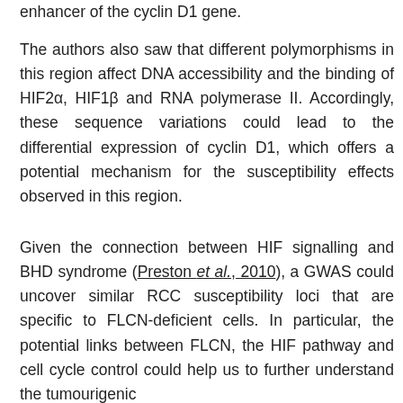enhancer of the cyclin D1 gene.
The authors also saw that different polymorphisms in this region affect DNA accessibility and the binding of HIF2α, HIF1β and RNA polymerase II. Accordingly, these sequence variations could lead to the differential expression of cyclin D1, which offers a potential mechanism for the susceptibility effects observed in this region.
Given the connection between HIF signalling and BHD syndrome (Preston et al., 2010), a GWAS could uncover similar RCC susceptibility loci that are specific to FLCN-deficient cells. In particular, the potential links between FLCN, the HIF pathway and cell cycle control could help us to further understand the tumourigenic